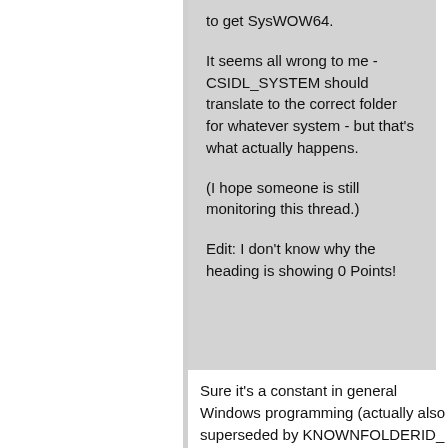to get SysWOW64.

It seems all wrong to me - CSIDL_SYSTEM should translate to the correct folder for whatever system - but that's what actually happens.

(I hope someone is still monitoring this thread.)

Edit: I don't know why the heading is showing 0 Points!
Sure it's a constant in general Windows programming (actually also superseded by KNOWNFOLDERID_ constants since Vista), but in context of App-V those values behave little bit differently. Back in the day, App-V